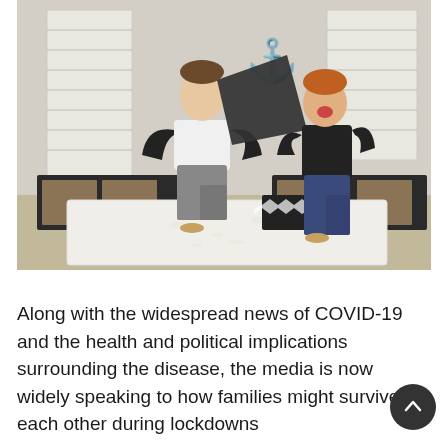[Figure (photo): Two children having a pillow fight on a mattress on the floor in a bedroom. One child in a black and white raglan shirt holds a large dark pillow, the other in a dark shirt reacts laughing. A red anchor decoration is on the wall behind them. Black storage furniture with wicker bins lines the back wall. Feathers and pillow stuffing are scattered on the mattress.]
Along with the widespread news of COVID-19 and the health and political implications surrounding the disease, the media is now widely speaking to how families might survive each other during lockdowns